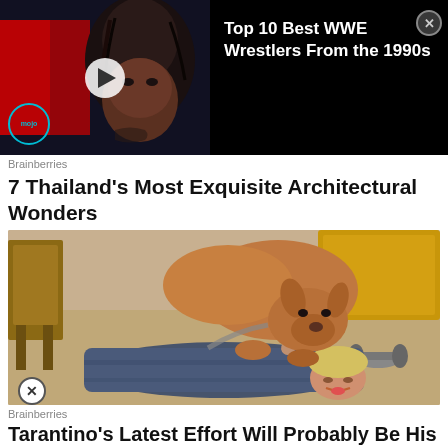[Figure (screenshot): Video ad banner with WWE wrestler (The Undertaker) thumbnail on black background, with WatchMojo logo badge and play button. Text reads: Top 10 Best WWE Wrestlers From the 1990s]
Brainberries
7 Thailand's Most Exquisite Architectural Wonders
[Figure (photo): Photo of a person lying on the floor being licked by a brown dog (pit bull type). Indoor setting with chairs and gym weights visible in background.]
Brainberries
Tarantino's Latest Effort Will Probably Be His Best